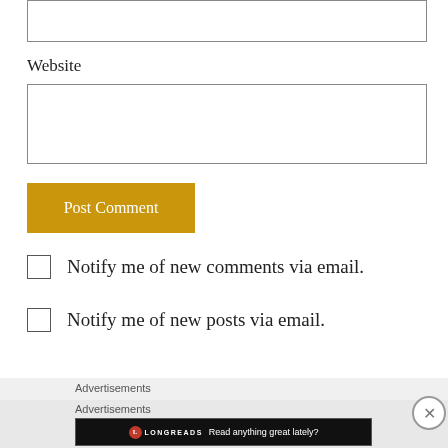Website
[Figure (screenshot): Post Comment button (gold/amber background, white serif text)]
Notify me of new comments via email.
Notify me of new posts via email.
Advertisements
Advertisements
[Figure (screenshot): Longreads advertisement banner: circular red L logo, LONGREADS text, 'Read anything great lately?']